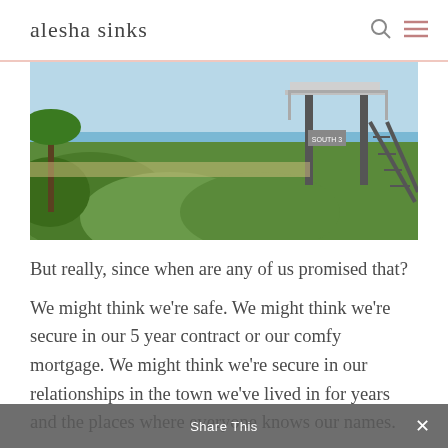alesha sinks
[Figure (photo): Outdoor beach scene with lush green vegetation in the foreground and a wooden lifeguard tower or observation deck with stairs on the right, ocean and blue sky visible in the background.]
But really, since when are any of us promised that?
We might think we're safe. We might think we're secure in our 5 year contract or our comfy mortgage. We might think we're secure in our relationships in the town we've lived in for years and the places where everyone knows our names.
Share This